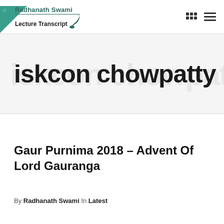Radhanath Swami Lecture Transcript
iskcon chowpatty
Gaur Purnima 2018 – Advent Of Lord Gauranga
By Radhanath Swami In Latest